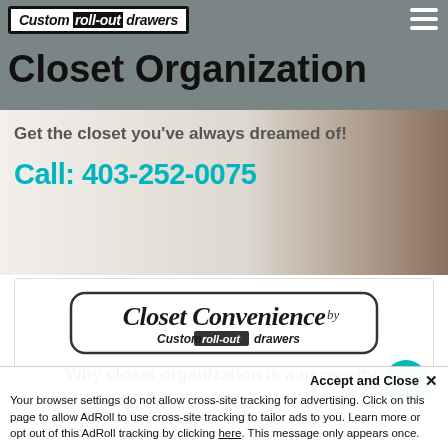Custom roll-out drawers
Closet Organization
Get the closet you've always dreamed of!
Call: 403-252-0075
[Figure (logo): Closet Convenience by Custom roll-out drawers logo in cursive script with rounded rectangle border]
Why closet organization is a necessity:
Accept and Close ✕
Your browser settings do not allow cross-site tracking for advertising. Click on this page to allow AdRoll to use cross-site tracking to tailor ads to you. Learn more or opt out of this AdRoll tracking by clicking here. This message only appears once.